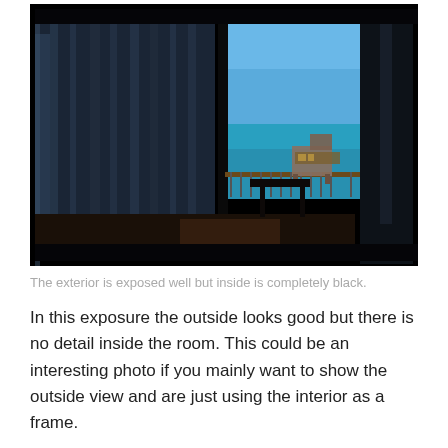[Figure (photo): A dark interior hotel room view looking through sheer curtains and a sliding glass door onto a sunlit balcony with a turquoise ocean view. The interior of the room is in silhouette/black, while the exterior is well-exposed showing blue sky and sea.]
The exterior is exposed well but inside is completely black.
In this exposure the outside looks good but there is no detail inside the room. This could be an interesting photo if you mainly want to show the outside view and are just using the interior as a frame.